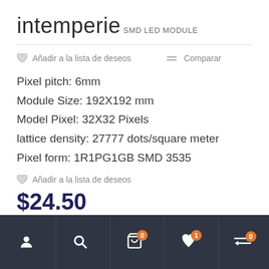intemperie
SMD LED MODULE
Añadir a la lista de deseos    Comparar
Pixel pitch: 6mm
Module Size: 192X192 mm
Model Pixel: 32X32 Pixels
lattice density: 27777 dots/square meter
Pixel form: 1R1PG1GB SMD 3535
Añadir a la lista de deseos
$24.50
Account  Search  Cart 0  Wishlist 1  Compare 0